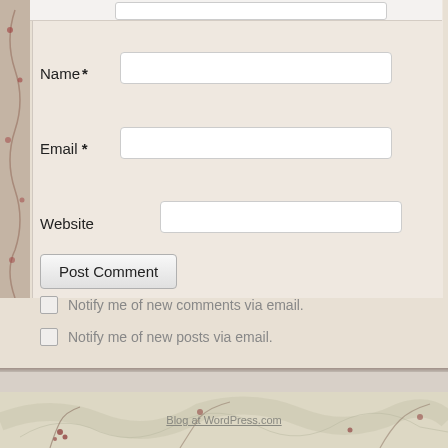[Figure (screenshot): WordPress comment form showing Name, Email, Website fields with text inputs, Post Comment button, and two checkbox rows for email notifications. Floral themed background with decorative botanical footer.]
Name *
Email *
Website
Post Comment
Notify me of new comments via email.
Notify me of new posts via email.
Blog at WordPress.com